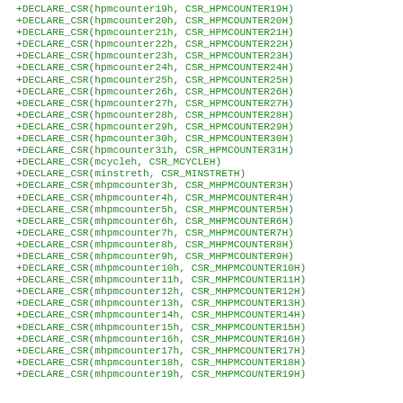+DECLARE_CSR(hpmcounter19h, CSR_HPMCOUNTER19H)
+DECLARE_CSR(hpmcounter20h, CSR_HPMCOUNTER20H)
+DECLARE_CSR(hpmcounter21h, CSR_HPMCOUNTER21H)
+DECLARE_CSR(hpmcounter22h, CSR_HPMCOUNTER22H)
+DECLARE_CSR(hpmcounter23h, CSR_HPMCOUNTER23H)
+DECLARE_CSR(hpmcounter24h, CSR_HPMCOUNTER24H)
+DECLARE_CSR(hpmcounter25h, CSR_HPMCOUNTER25H)
+DECLARE_CSR(hpmcounter26h, CSR_HPMCOUNTER26H)
+DECLARE_CSR(hpmcounter27h, CSR_HPMCOUNTER27H)
+DECLARE_CSR(hpmcounter28h, CSR_HPMCOUNTER28H)
+DECLARE_CSR(hpmcounter29h, CSR_HPMCOUNTER29H)
+DECLARE_CSR(hpmcounter30h, CSR_HPMCOUNTER30H)
+DECLARE_CSR(hpmcounter31h, CSR_HPMCOUNTER31H)
+DECLARE_CSR(mcycleh, CSR_MCYCLEH)
+DECLARE_CSR(minstreth, CSR_MINSTRETH)
+DECLARE_CSR(mhpmcounter3h, CSR_MHPMCOUNTER3H)
+DECLARE_CSR(mhpmcounter4h, CSR_MHPMCOUNTER4H)
+DECLARE_CSR(mhpmcounter5h, CSR_MHPMCOUNTER5H)
+DECLARE_CSR(mhpmcounter6h, CSR_MHPMCOUNTER6H)
+DECLARE_CSR(mhpmcounter7h, CSR_MHPMCOUNTER7H)
+DECLARE_CSR(mhpmcounter8h, CSR_MHPMCOUNTER8H)
+DECLARE_CSR(mhpmcounter9h, CSR_MHPMCOUNTER9H)
+DECLARE_CSR(mhpmcounter10h, CSR_MHPMCOUNTER10H)
+DECLARE_CSR(mhpmcounter11h, CSR_MHPMCOUNTER11H)
+DECLARE_CSR(mhpmcounter12h, CSR_MHPMCOUNTER12H)
+DECLARE_CSR(mhpmcounter13h, CSR_MHPMCOUNTER13H)
+DECLARE_CSR(mhpmcounter14h, CSR_MHPMCOUNTER14H)
+DECLARE_CSR(mhpmcounter15h, CSR_MHPMCOUNTER15H)
+DECLARE_CSR(mhpmcounter16h, CSR_MHPMCOUNTER16H)
+DECLARE_CSR(mhpmcounter17h, CSR_MHPMCOUNTER17H)
+DECLARE_CSR(mhpmcounter18h, CSR_MHPMCOUNTER18H)
+DECLARE_CSR(mhpmcounter19h, CSR_MHPMCOUNTER19H)